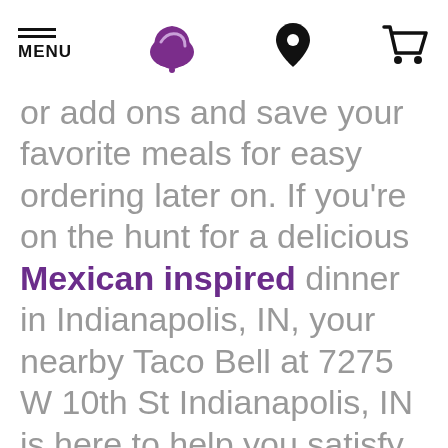MENU | Taco Bell logo | Location icon | Cart icon
or add ons and save your favorite meals for easy ordering later on. If you're on the hunt for a delicious Mexican inspired dinner in Indianapolis, IN, your nearby Taco Bell at 7275 W 10th St Indianapolis, IN is here to help you satisfy your cravings. We're open